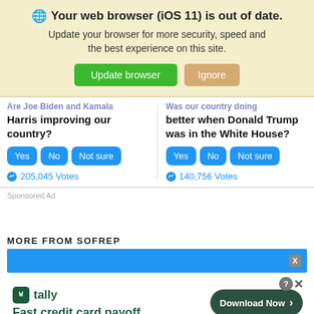[Figure (screenshot): Browser update notification banner with globe icon, bold title 'Your web browser (iOS 11) is out of date.', subtitle text, and two buttons: 'Update browser' (green) and 'Ignore' (tan)]
Are Joe Biden and Kamala Harris improving our country?
Yes | No | Not sure
205,045 Votes
Was our country doing better when Donald Trump was in the White House?
Yes | No | Not sure
140,756 Votes
Sponsored Ad
MORE FROM SOFREP
[Figure (screenshot): Blue bar with X close button, and Tally ad below: 'Fast credit card payoff' with green Download Now button, question mark and X close icons in top right]